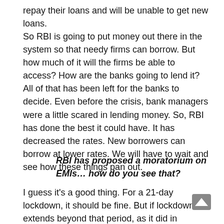repay their loans and will be unable to get new loans.
So RBI is going to put money out there in the system so that needy firms can borrow. But how much of it will the firms be able to access? How are the banks going to lend it? All of that has been left for the banks to decide. Even before the crisis, bank managers were a little scared in lending money. So, RBI has done the best it could have. It has decreased the rates. New borrowers can borrow at lower rates. We will have to wait and see how these things pan out.
RBI has proposed a moratorium on EMIs… how do you see that?
I guess it's a good thing. For a 21-day lockdown, it should be fine. But if lockdown extends beyond that period, as it did in Europe, we will have to think carefully. As I said